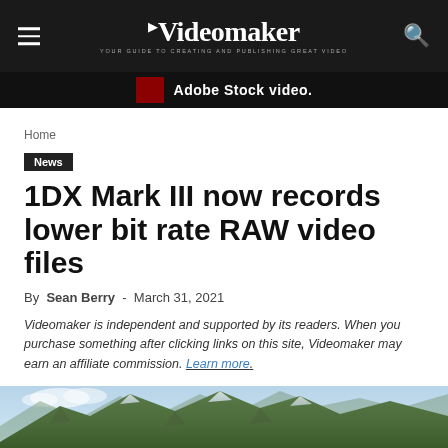Videomaker — YOUR GUIDE TO CREATING AND PUBLISHING GREAT VIDEO
[Figure (screenshot): Adobe Stock Video advertisement banner with dark background and red block element]
Home
News
1DX Mark III now records lower bit rate RAW video files
By Sean Berry - March 31, 2021
Videomaker is independent and supported by its readers. When you purchase something after clicking links on this site, Videomaker may earn an affiliate commission. Learn more.
[Figure (photo): Partial mountain landscape photo visible at the bottom of the page]